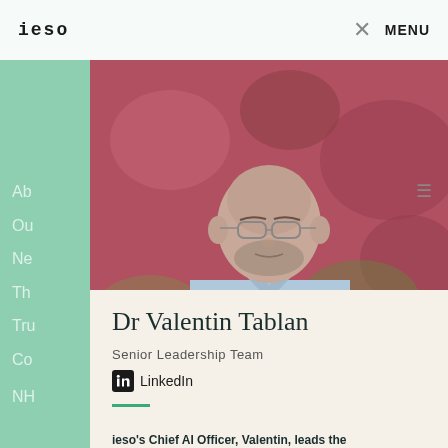ieso   MENU
[Figure (photo): Portrait photo of Dr Valentin Tablan, a bald man with glasses and a beard wearing a light blue shirt, in front of a blurred red floral background]
Dr Valentin Tablan
Senior Leadership Team
in LinkedIn
ieso's Chief AI Officer, Valentin, leads the